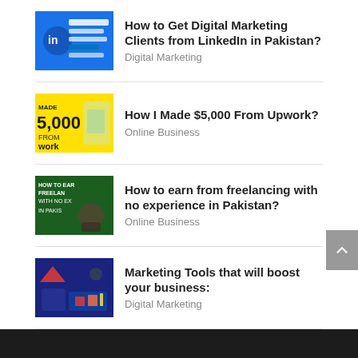How to Get Digital Marketing Clients from LinkedIn in Pakistan?
Digital Marketing
How I Made $5,000 From Upwork?
Online Business
How to earn from freelancing with no experience in Pakistan?
Online Business
Marketing Tools that will boost your business:
Digital Marketing
DOERS EMPIRE